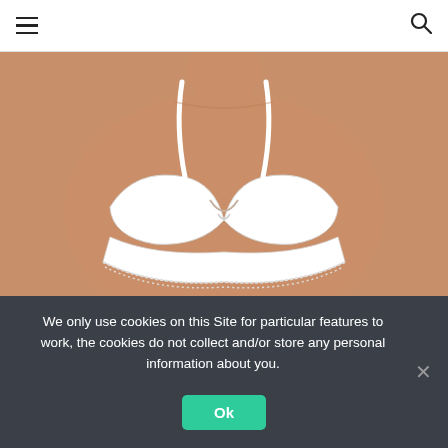☰  🔍
[Figure (photo): Product photo of a woman wearing a white push-up bra with lace trim, shown from neck to waist against a neutral background.]
We only use cookies on this Site for particular features to work, the cookies do not collect and/or store any personal information about you.